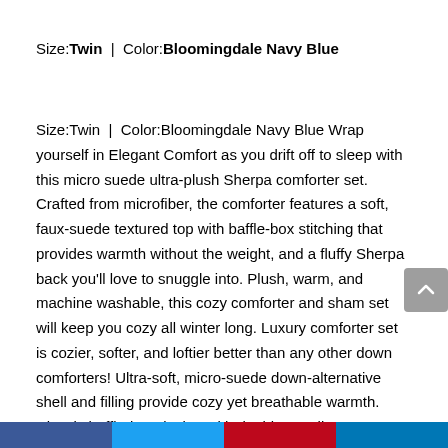Size:Twin | Color:Bloomingdale Navy Blue
Size:Twin | Color:Bloomingdale Navy Blue Wrap yourself in Elegant Comfort as you drift off to sleep with this micro suede ultra-plush Sherpa comforter set. Crafted from microfiber, the comforter features a soft, faux-suede textured top with baffle-box stitching that provides warmth without the weight, and a fluffy Sherpa back you'll love to snuggle into. Plush, warm, and machine washable, this cozy comforter and sham set will keep you cozy all winter long. Luxury comforter set is cozier, softer, and loftier better than any other down comforters! Ultra-soft, micro-suede down-alternative shell and filling provide cozy yet breathable warmth. Classic baffle-box design with double-needle
[social sharing bar: Facebook, Twitter, Pinterest, LinkedIn]